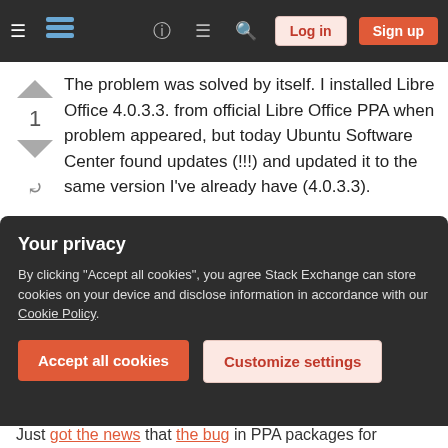Stack Exchange navigation bar with hamburger menu, logo, help, chat, search, Log in, Sign up
The problem was solved by itself. I installed Libre Office 4.0.3.3. from official Libre Office PPA when problem appeared, but today Ubuntu Software Center found updates (!!!) and updated it to the same version I've already have (4.0.3.3).
After this, Libre Office shows submenus automatically, no delay...
I guess, installing software from other sources (such as Libre Office PPA) could cause such problems
Your privacy
By clicking "Accept all cookies", you agree Stack Exchange can store cookies on your device and disclose information in accordance with our Cookie Policy.
Accept all cookies
Customize settings
Just got the news that the bug in PPA packages for